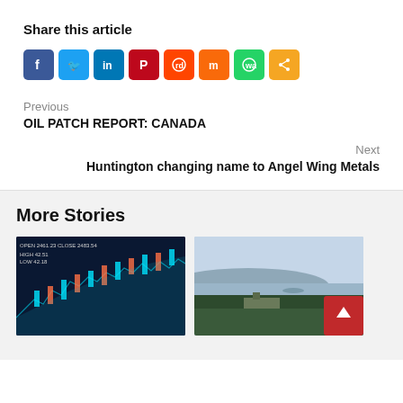Share this article
[Figure (infographic): Social media share buttons: Facebook, Twitter, LinkedIn, Pinterest, Reddit, Mix, WhatsApp, Share]
Previous
OIL PATCH REPORT: CANADA
Next
Huntington changing name to Angel Wing Metals
More Stories
[Figure (photo): Stock market candlestick chart on dark blue background with cyan and orange candles]
[Figure (photo): Aerial landscape photo showing a lake, forested hills, and what appears to be an industrial or mining facility]